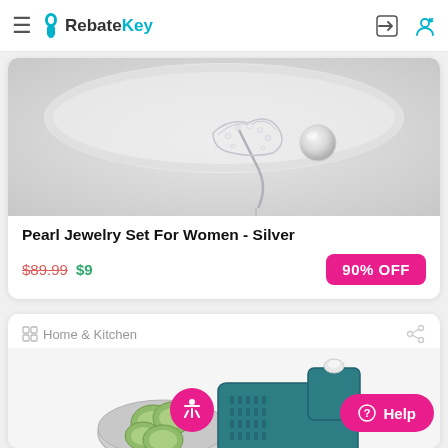RebateKey
[Figure (photo): Close-up photo of a silver pearl jewelry set with rhinestone decorations on a white fabric background]
Pearl Jewelry Set For Women - Silver
$89.99 $9  90% OFF
Home & Kitchen
[Figure (photo): Photo of a teal/dark green kitchen mandoline slicer set with a bowl of sliced cucumbers]